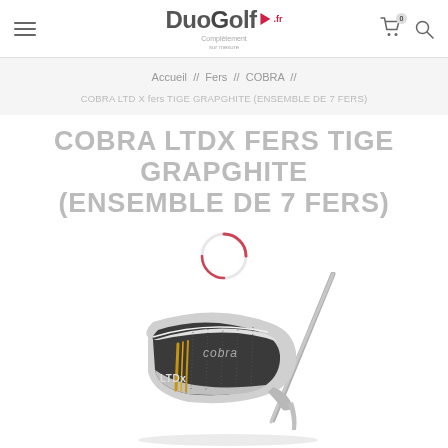DuoGolf - Complètement sur mesure
Accueil // Fers // COBRA //
COBRA LTD X fers TIGE GRAPGHITE (ENSEMBLE DE 7 FERS)
COBRA LTDX FERS TIGE GRAPGHITE (ENSEMBLE DE 7 FERS)
[Figure (photo): Cobra LTDX iron golf club, silver/chrome finish with black face and orange/gold accents, showing 'cobra' and 'LTDx' branding]